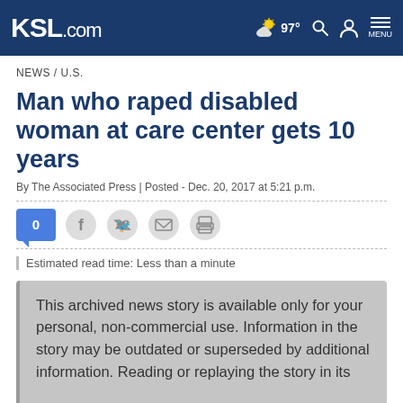KSL.com | 97° MENU
NEWS / U.S.
Man who raped disabled woman at care center gets 10 years
By The Associated Press | Posted - Dec. 20, 2017 at 5:21 p.m.
0 [comment badge] [Facebook] [Twitter] [Email] [Print]
Estimated read time: Less than a minute
This archived news story is available only for your personal, non-commercial use. Information in the story may be outdated or superseded by additional information. Reading or replaying the story in its